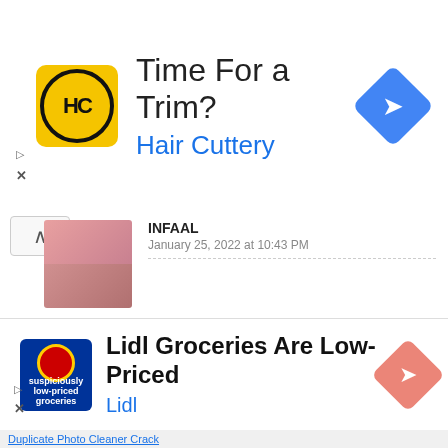[Figure (screenshot): Hair Cuttery advertisement banner with yellow HC logo, 'Time For a Trim?' title, 'Hair Cuttery' subtitle in blue, and blue diamond arrow icon]
INFAAL
January 25, 2022 at 10:43 PM
What are you waiting for?. just go through this website and get free software
Thanks for sharing
Reply   Delete
FAIZA MALIK
January 26, 2022 at 9:40 AM
Thank you for shar... is a Very Useful post. Your
[Figure (screenshot): Red CLOSE button overlay]
[Figure (screenshot): Lidl Groceries advertisement banner with Lidl logo, 'Lidl Groceries Are Low-Priced' title, 'Lidl' in blue, and orange diamond arrow icon]
Duplicate Photo Cleaner Crack